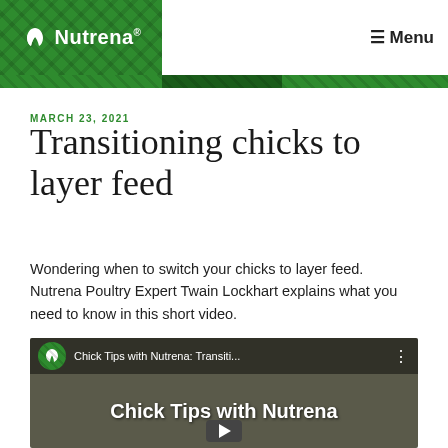Nutrena — Menu
MARCH 23, 2021
Transitioning chicks to layer feed
Wondering when to switch your chicks to layer feed. Nutrena Poultry Expert Twain Lockhart explains what you need to know in this short video.
[Figure (screenshot): YouTube video thumbnail showing 'Chick Tips with Nutrena: Transiti...' with Nutrena logo circle, three-dot menu, and bold title text 'Chick Tips with Nutrena' over a muted background, with a play button at bottom center.]